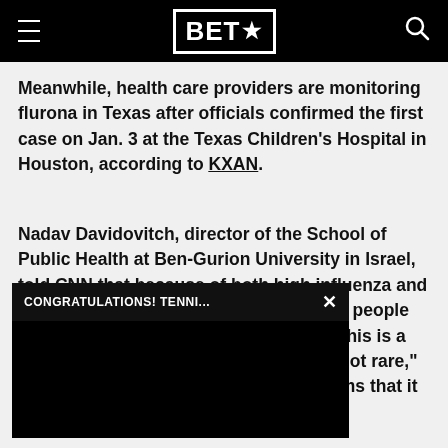BET★
Meanwhile, health care providers are monitoring flurona in Texas after officials confirmed the first case on Jan. 3 at the Texas Children's Hospital in Houston, according to KXAN.
Nadav Davidovitch, director of the School of Public Health at Ben-Gurion University in Israel, told CNN that because of both high influenza and COVID activity there will be incidents of people being infected with both. "I don't think this is a particularly common situation, but it's not rare," he said. "It's interesting because it seems that it was very, very low or not at all before the pandemic, potentially because people were chronologically younger and more vulnerable."
[Figure (other): Black popup advertisement overlay with title bar reading 'CONGRATULATIONS! TENNI...' and a close (×) button, covering part of the article text.]
Also: Omicron, possibly 2022: Possibly End...